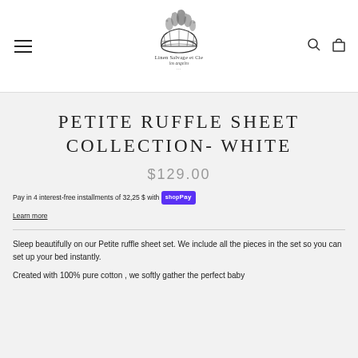[Figure (logo): Linen Salvage et Cie basket logo with floral arrangement, with text 'Linen Salvage et Cie' and 'los angeles']
PETITE RUFFLE SHEET COLLECTION- WHITE
$129.00
Pay in 4 interest-free installments of 32,25 $ with shopPay
Learn more
Sleep beautifully on our Petite ruffle sheet set. We include all the pieces in the set so you can set up your bed instantly.
Created with 100% pure cotton , we softly gather the perfect baby